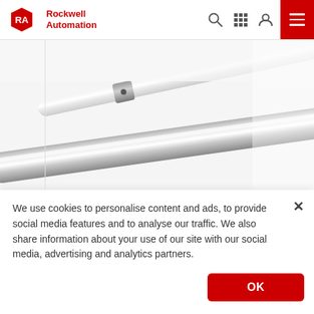[Figure (logo): Rockwell Automation logo with RA hexagon emblem and brand name in red]
[Figure (photo): Close-up photograph of two metallic cylindrical probe or rod components, one white/light colored on top and one chrome/steel colored below, on a white background]
We use cookies to personalise content and ads, to provide social media features and to analyse our traffic. We also share information about your use of our site with our social media, advertising and analytics partners.